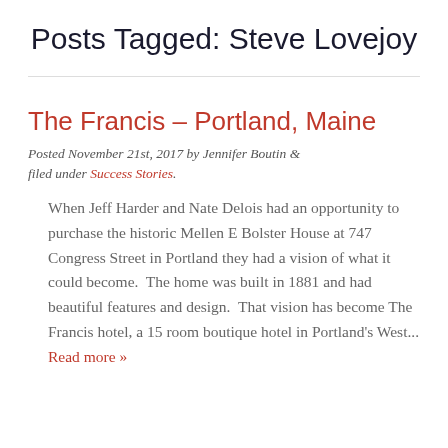Posts Tagged: Steve Lovejoy
The Francis – Portland, Maine
Posted November 21st, 2017 by Jennifer Boutin & filed under Success Stories.
When Jeff Harder and Nate Delois had an opportunity to purchase the historic Mellen E Bolster House at 747 Congress Street in Portland they had a vision of what it could become.  The home was built in 1881 and had beautiful features and design.  That vision has become The Francis hotel, a 15 room boutique hotel in Portland's West... Read more »